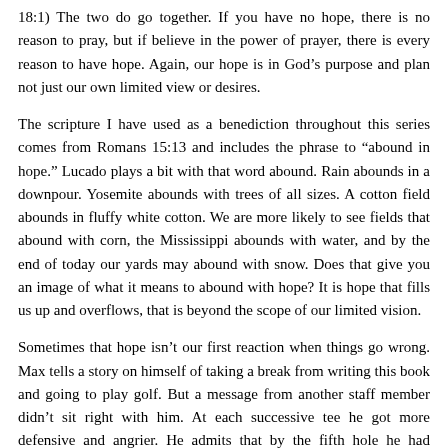18:1) The two do go together. If you have no hope, there is no reason to pray, but if believe in the power of prayer, there is every reason to have hope. Again, our hope is in God's purpose and plan not just our own limited view or desires.
The scripture I have used as a benediction throughout this series comes from Romans 15:13 and includes the phrase to “abound in hope.” Lucado plays a bit with that word abound. Rain abounds in a downpour. Yosemite abounds with trees of all sizes. A cotton field abounds in fluffy white cotton. We are more likely to see fields that abound with corn, the Mississippi abounds with water, and by the end of today our yards may abound with snow. Does that give you an image of what it means to abound with hope? It is hope that fills us up and overflows, that is beyond the scope of our limited vision.
Sometimes that hope isn’t our first reaction when things go wrong. Max tells a story on himself of taking a break from writing this book and going to play golf. But a message from another staff member didn’t sit right with him. At each successive tee he got more defensive and angrier. He admits that by the fifth hole he had resigned, fired the